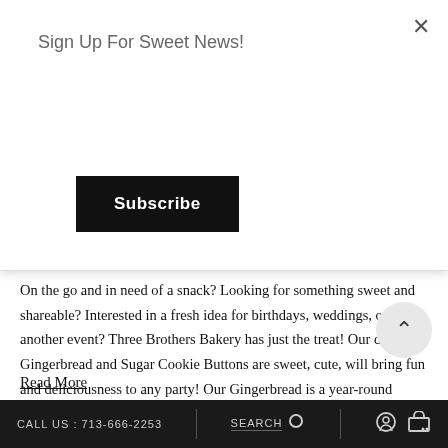Sign Up For Sweet News!
Subscribe
BUTTON
September 9, 2019
On the go and in need of a snack? Looking for something sweet and shareable? Interested in a fresh idea for birthdays, weddings, or another event? Three Brothers Bakery has just the treat! Our delicious Gingerbread and Sugar Cookie Buttons are sweet, cute, will bring fun and deliciousness to any party! Our Gingerbread is a year-round classic-a Jucker family recipe going back well over 60 years! We cut gingerbread cookie [...]
Read More
CALL US : 713-666-2253   SEARCH